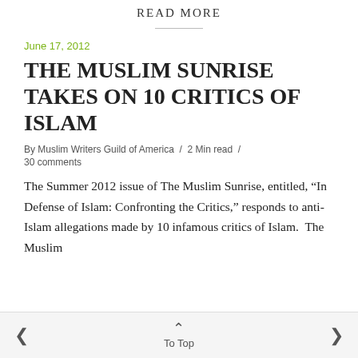READ MORE
June 17, 2012
THE MUSLIM SUNRISE TAKES ON 10 CRITICS OF ISLAM
By Muslim Writers Guild of America / 2 Min read / 30 comments
The Summer 2012 issue of The Muslim Sunrise, entitled, “In Defense of Islam: Confronting the Critics,” responds to anti-Islam allegations made by 10 infamous critics of Islam.  The Muslim
< To Top >